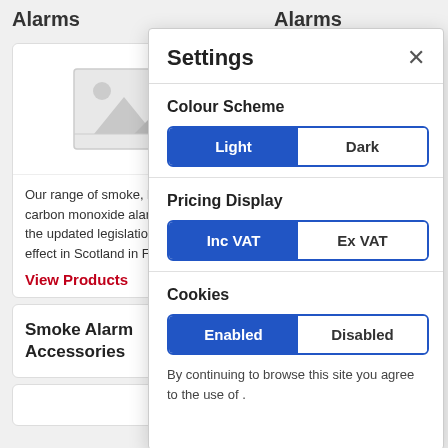Alarms
[Figure (illustration): Placeholder image icon with mountain/photo symbol]
Our range of smoke, heat, and carbon monoxide alarms suitable for the updated legislation coming into effect in Scotland in February 2022.
View Products
Smoke Alarm Accessories
Alarms
Smo... mo... la... up... inte...
Vi...
Re... Cl...
[Figure (screenshot): Settings overlay panel with Colour Scheme (Light/Dark), Pricing Display (Inc VAT/Ex VAT), Cookies (Enabled/Disabled) toggles and cookie consent text]
Settings
Colour Scheme
Light | Dark
Pricing Display
Inc VAT | Ex VAT
Cookies
Enabled | Disabled
By continuing to browse this site you agree to the use of .